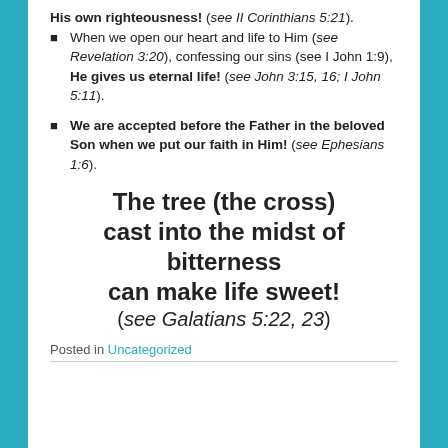His own righteousness! (see II Corinthians 5:21).
When we open our heart and life to Him (see Revelation 3:20), confessing our sins (see I John 1:9), He gives us eternal life! (see John 3:15, 16; I John 5:11).
We are accepted before the Father in the beloved Son when we put our faith in Him! (see Ephesians 1:6).
The tree (the cross) cast into the midst of bitterness can make life sweet! (see Galatians 5:22, 23)
Posted in Uncategorized